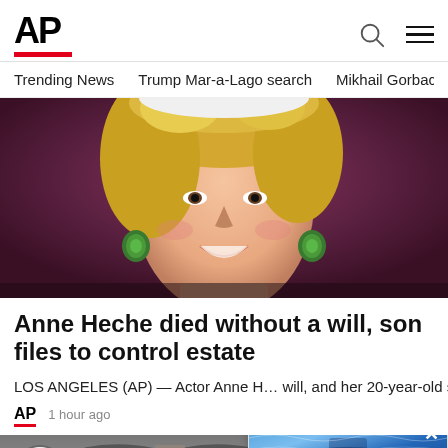[Figure (logo): AP Associated Press logo with red underline bar]
Trending News   Trump Mar-a-Lago search   Mikhail Gorbachev d
[Figure (photo): Close-up photo of smiling blonde woman (Anne Heche) with green earrings, dark background]
Anne Heche died without a will, son files to control estate
LOS ANGELES (AP) — Actor Anne H… will, and her 20-year-old son has filed c…
AP  1 hour ago
[Figure (screenshot): Popup overlay showing blue abstract image with red bar, Tech toolofferspolice'm... headline]
[Figure (photo): Bottom partial photo showing close-up of person's eyes]